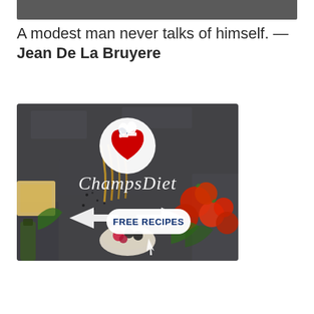[Figure (photo): Cropped bottom edge of a photo visible at top of page, dark grey/charcoal colored image strip]
A modest man never talks of himself. — Jean De La Bruyere
[Figure (infographic): ChampsDiet advertisement banner. Dark stone background with food ingredients (cheese, tomatoes, pasta, herbs, olives, strawberries, garlic, olive oil). A circular white logo with American flag heart and chef hats. Cursive white text 'ChampsDiet'. White rounded rectangle button labeled 'FREE RECIPES' in dark blue bold text, flanked by two white arrow shapes pointing inward.]